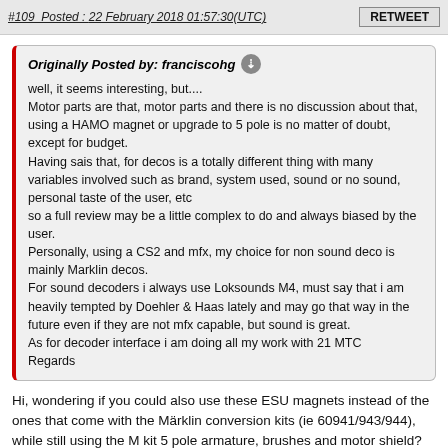#109  Posted : 22 February 2018 01:57:30(UTC)
Originally Posted by: franciscohg

well, it seems interesting, but....
Motor parts are that, motor parts and there is no discussion about that, using a HAMO magnet or upgrade to 5 pole is no matter of doubt, except for budget.
Having sais that, for decos is a totally different thing with many variables involved such as brand, system used, sound or no sound, personal taste of the user, etc
so a full review may be a little complex to do and always biased by the user.
Personally, using a CS2 and mfx, my choice for non sound deco is mainly Marklin decos.
For sound decoders i always use Loksounds M4, must say that i am heavily tempted by Doehler & Haas lately and may go that way in the future even if they are not mfx capable, but sound is great.
As for decoder interface i am doing all my work with 21 MTC
Regards
Hi, wondering if you could also use these ESU magnets instead of the ones that come with the Märklin conversion kits (ie 60941/943/944), while still using the M kit 5 pole armature, brushes and motor shield? As far as I can tell there is no other manufacturer for the armatures, brushes and shields.
http://www.esu.eu/en/pro...ories/permanent-magnets/
Thanks and regards.